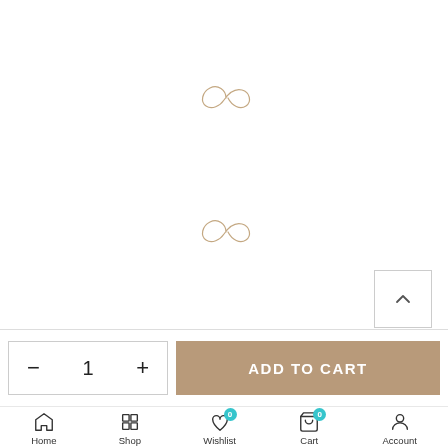[Figure (illustration): Two decorative infinity-like swirl symbols drawn in thin tan/rose-gold lines, centered in the main white area of the page, stacked vertically.]
[Figure (other): Scroll-to-top button: white square with upward chevron arrow, positioned at bottom-right of the main content area.]
- 1 +
ADD TO CART
Home
Shop
Wishlist
Cart
Account